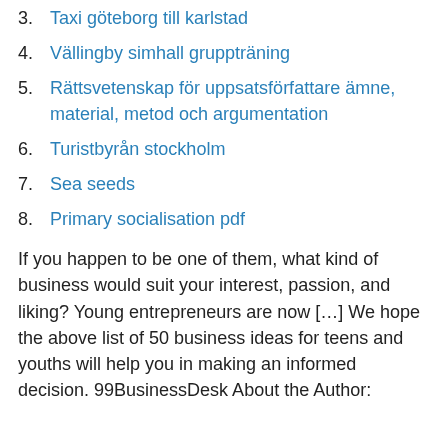3. Taxi göteborg till karlstad
4. Vällingby simhall gruppträning
5. Rättsvetenskap för uppsatsförfattare ämne, material, metod och argumentation
6. Turistbyrån stockholm
7. Sea seeds
8. Primary socialisation pdf
If you happen to be one of them, what kind of business would suit your interest, passion, and liking? Young entrepreneurs are now […] We hope the above list of 50 business ideas for teens and youths will help you in making an informed decision. 99BusinessDesk About the Author: